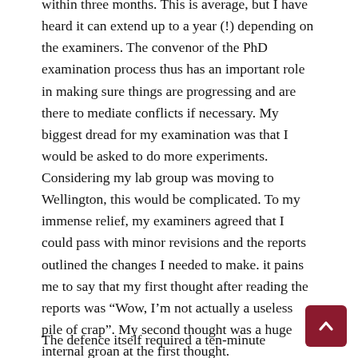within three months. This is average, but I have heard it can extend up to a year (!) depending on the examiners. The convenor of the PhD examination process thus has an important role in making sure things are progressing and are there to mediate conflicts if necessary. My biggest dread for my examination was that I would be asked to do more experiments. Considering my lab group was moving to Wellington, this would be complicated. To my immense relief, my examiners agreed that I could pass with minor revisions and the reports outlined the changes I needed to make. it pains me to say that my first thought after reading the reports was “Wow, I’m not actually a useless pile of crap”. My second thought was a huge internal groan at the first thought.
The defence itself required a ten-minute summary